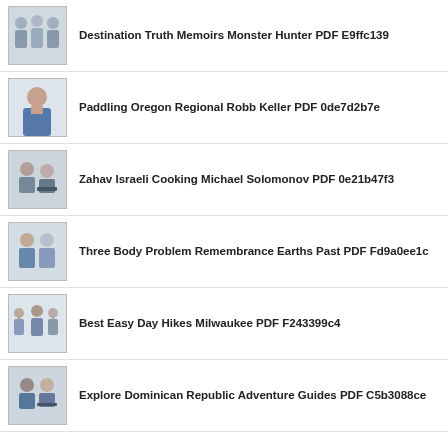Destination Truth Memoirs Monster Hunter PDF E9ffc139
Paddling Oregon Regional Robb Keller PDF 0de7d2b7e
Zahav Israeli Cooking Michael Solomonov PDF 0e21b47f3
Three Body Problem Remembrance Earths Past PDF Fd9a0ee1c
Best Easy Day Hikes Milwaukee PDF F243399c4
Explore Dominican Republic Adventure Guides PDF C5b3088ce